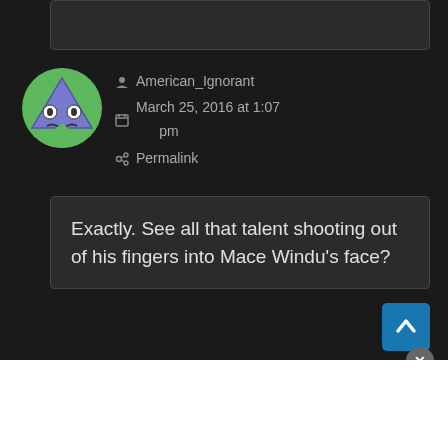[Figure (screenshot): Partial comment box at top of page, dark background]
[Figure (illustration): User avatar: cartoon figure with blue/purple triangle and green circular background]
American_Ignorant
March 25, 2016 at 1:07 pm
Permalink
Exactly. See all that talent shooting out of his fingers into Mace Windu's face?
[Figure (illustration): Second user avatar (partial): cartoon figure with blue/purple triangle and green circular background]
American_Ignorant
March 24, 2016 at 11:47 pm